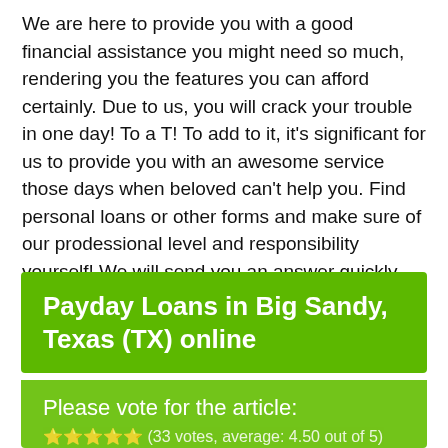We are here to provide you with a good financial assistance you might need so much, rendering you the features you can afford certainly. Due to us, you will crack your trouble in one day! To a T! To add to it, it's significant for us to provide you with an awesome service those days when beloved can't help you. Find personal loans or other forms and make sure of our prodessional level and responsibility yourself! We will send you an answer quickly.
Payday Loans in Big Sandy, Texas (TX) online
Please vote for the article: